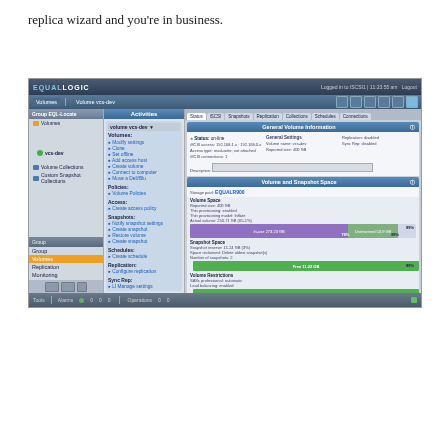replica wizard and you're in business.
[Figure (screenshot): EqualLogic storage management software screenshot showing Volume vcs-dev with General Volume Information panel (Status: online, iSCSI access, General Settings, Replication info), Volume and Snapshot Space panel with storage pool EQUALR900, volume space bar (purple used ~70%, green free ~20%), Snapshot Space green bar (99%), Volume Restrictions green bar. Left nav shows tree with Volumes, Volume Collections, Custom Snapshot Collections. Activity panel shows links for volume actions. Bottom status bar shows Alarms and Operations.]